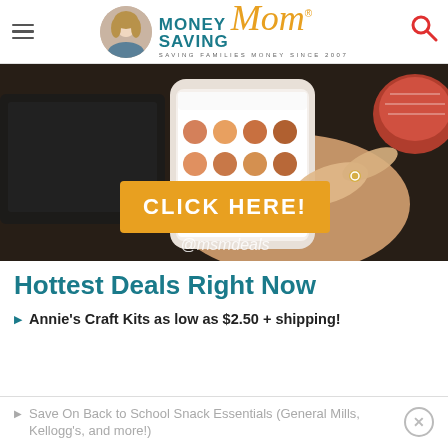Money Saving Mom® — Saving Families Money Since 2007
[Figure (photo): Promotional banner image showing a hand holding a smartphone with Instagram feed visible, a bowl of food in the background, with orange 'CLICK HERE!' button overlay and '@msmdeals' text]
Hottest Deals Right Now
Annie's Craft Kits as low as $2.50 + shipping!
Save On Back to School Snack Essentials (General Mills, Kellogg's, and more!)